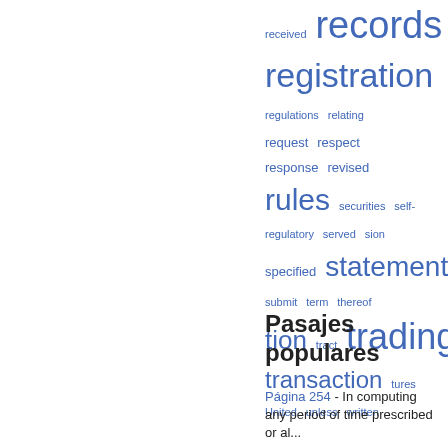[Figure (other): Word cloud with legal/financial terms in blue at various font sizes, positioned in the right column. Terms include: received, records, registration, regulations, relating, request, respect, response, revised, rules, securities, self-regulatory, served, sion, specified, statement, submit, term, thereof, tion, tract, trading, transaction, tures, United, unless, written]
Pasajes populares
Página 254 - In computing any period of ti...